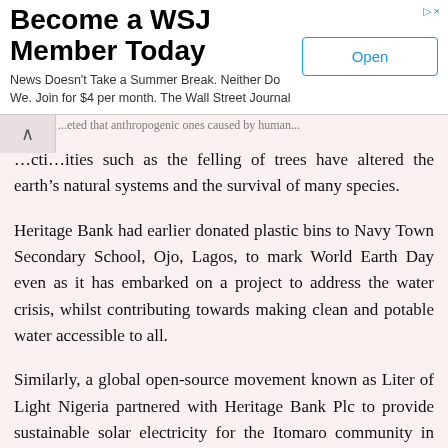[Figure (other): WSJ advertisement banner: 'Become a WSJ Member Today' with tagline 'News Doesn't Take a Summer Break. Neither Do We. Join for $4 per month. The Wall Street Journal' and an 'Open' button]
...ities such as the felling of trees have altered the earth's natural systems and the survival of many species.
Heritage Bank had earlier donated plastic bins to Navy Town Secondary School, Ojo, Lagos, to mark World Earth Day even as it has embarked on a project to address the water crisis, whilst contributing towards making clean and potable water accessible to all.
Similarly, a global open-source movement known as Liter of Light Nigeria partnered with Heritage Bank Plc to provide sustainable solar electricity for the Itomaro community in Lagos State while the bank, in 2020, had been on the move to distribute over 10, 000 mosquito